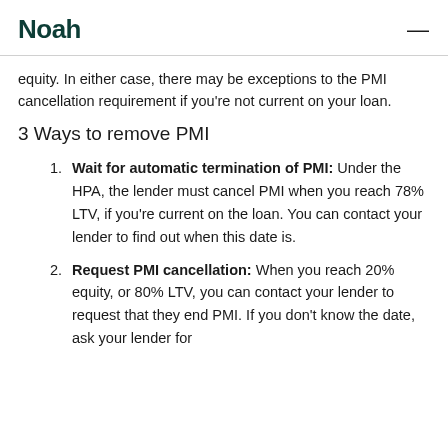Noah
equity. In either case, there may be exceptions to the PMI cancellation requirement if you're not current on your loan.
3 Ways to remove PMI
Wait for automatic termination of PMI: Under the HPA, the lender must cancel PMI when you reach 78% LTV, if you're current on the loan. You can contact your lender to find out when this date is.
Request PMI cancellation: When you reach 20% equity, or 80% LTV, you can contact your lender to request that they end PMI. If you don't know the date, ask your lender for